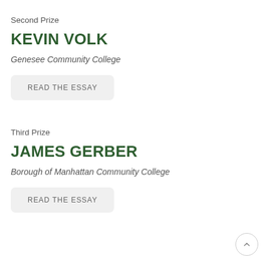Second Prize
KEVIN VOLK
Genesee Community College
READ THE ESSAY
Third Prize
JAMES GERBER
Borough of Manhattan Community College
READ THE ESSAY